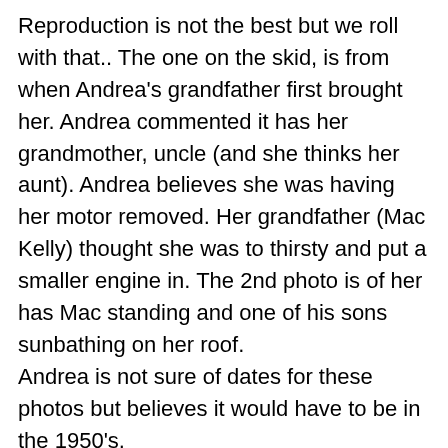Reproduction is not the best but we roll with that.. The one on the skid, is from when Andrea's grandfather first brought her. Andrea commented it has her grandmother, uncle (and she thinks her aunt). Andrea believes she was having her motor removed. Her grandfather (Mac Kelly) thought she was to thirsty and put a smaller engine in. The 2nd photo is of her has Mac standing and one of his sons sunbathing on her roof.
Andrea is not sure of dates for these photos but believes it would have to be in the 1950's.
Zephyr remained in their family until about 1985 when she was sold to a man from Auckland who Andrea was told was the gent who took her bridge off. After that Andrea didnt know what happened to Zephyr until she received an email WW and then read Logan's post.
Andrea has promised to continue to track down any more